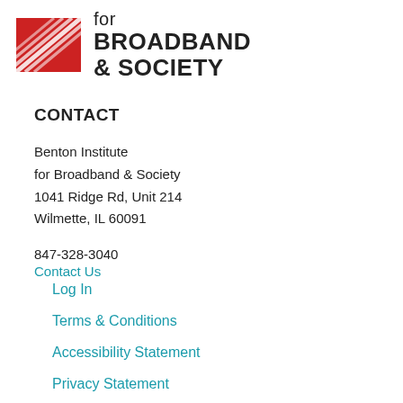[Figure (logo): Benton Institute for Broadband & Society logo with red striped square icon and bold text]
CONTACT
Benton Institute
for Broadband & Society
1041 Ridge Rd, Unit 214
Wilmette, IL 60091
847-328-3040
Contact Us
Log In
Terms & Conditions
Accessibility Statement
Privacy Statement
Press Room